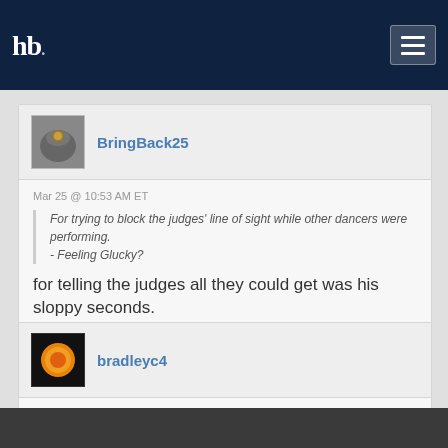hb [logo] [hamburger menu]
BringBack25
Mar 25 @ 10:53 AM ET
For trying to block the judges' line of sight while other dancers were performing.
- Feeling Glucky?
for telling the judges all they could get was his sloppy seconds.
bradleyc4
Mar 25 @ 11:35 AM ET